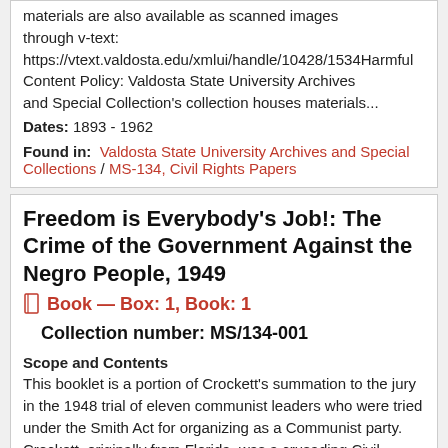materials are also available as scanned images through v-text: https://vtext.valdosta.edu/xmlui/handle/10428/1534Harmful Content Policy: Valdosta State University Archives and Special Collection's collection houses materials...
Dates: 1893 - 1962
Found in: Valdosta State University Archives and Special Collections / MS-134, Civil Rights Papers
Freedom is Everybody's Job!: The Crime of the Government Against the Negro People, 1949
Book — Box: 1, Book: 1
Collection number: MS/134-001
Scope and Contents
This booklet is a portion of Crockett's summation to the jury in the 1948 trial of eleven communist leaders who were tried under the Smith Act for organizing as a Communist party. Crockett, originally from Florida, was a crusading Civil Rights lawyer. He was also a